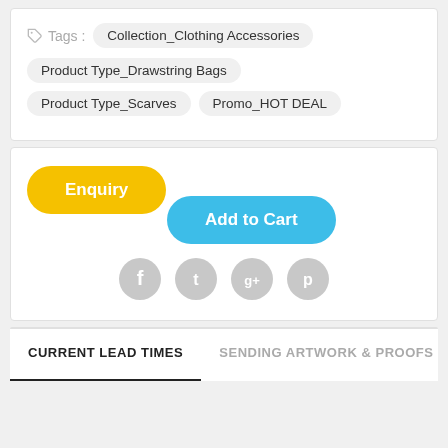Tags : Collection_Clothing Accessories  Product Type_Drawstring Bags  Product Type_Scarves  Promo_HOT DEAL
Enquiry
Add to Cart
[Figure (infographic): Social media share icons: Facebook, Twitter, Google+, Pinterest — all grey circles]
CURRENT LEAD TIMES
SENDING ARTWORK & PROOFS